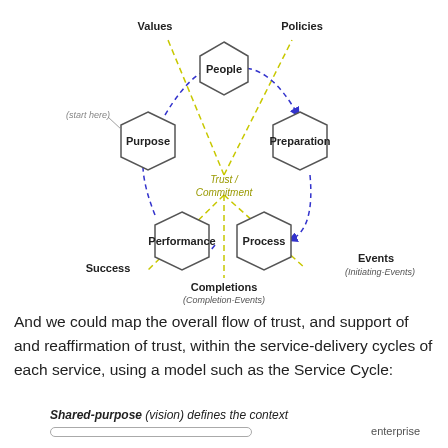[Figure (flowchart): Service Cycle diagram showing five pentagons labeled Purpose, People, Preparation, Process, Performance arranged around a center labeled Trust/Commitment, with dashed blue circular arrows and dashed yellow lines radiating outward to labels: Values, Policies, Events (Initiating-Events), Completions (Completion-Events), Success. An annotation '(start here)' points to Purpose.]
And we could map the overall flow of trust, and support of and reaffirmation of trust, within the service-delivery cycles of each service, using a model such as the Service Cycle:
Shared-purpose (vision) defines the context
enterprise